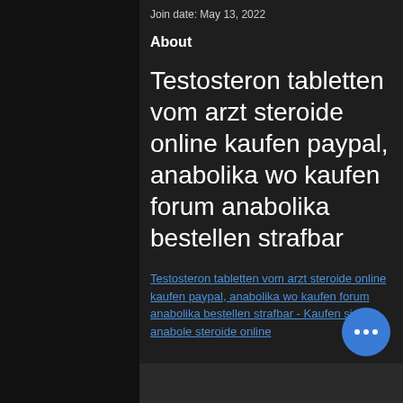Join date: May 13, 2022
About
Testosteron tabletten vom arzt steroide online kaufen paypal, anabolika wo kaufen forum anabolika bestellen strafbar
Testosteron tabletten vom arzt steroide online kaufen paypal, anabolika wo kaufen forum anabolika bestellen strafbar - Kaufen sie anabole steroide online